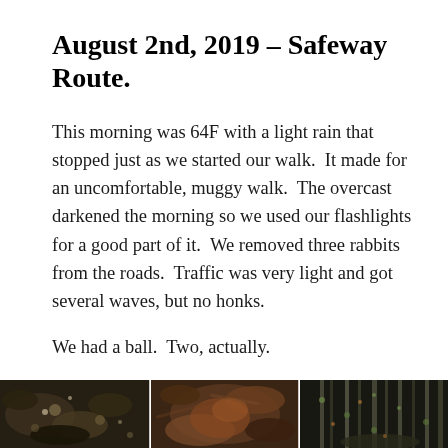August 2nd, 2019 – Safeway Route.
This morning was 64F with a light rain that stopped just as we started our walk.  It made for an uncomfortable, muggy walk.  The overcast darkened the morning so we used our flashlights for a good part of it.  We removed three rabbits from the roads.  Traffic was very light and got several waves, but no honks.
We had a ball.  Two, actually.
[Figure (photo): Three-panel composite photo showing close-up nature/ground-level images, appearing to show mushrooms or natural debris on forest floor]